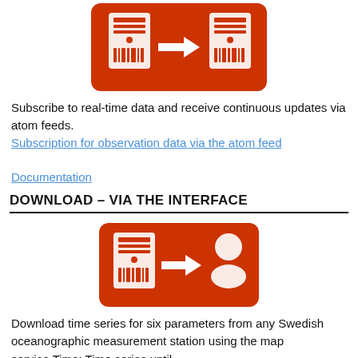[Figure (infographic): Red rounded rectangle icon showing two server towers with a right-pointing arrow between them (server-to-server data feed concept)]
Subscribe to real-time data and receive continuous updates via atom feeds.
Subscription for observation data via the atom feed

Documentation
DOWNLOAD – VIA THE INTERFACE
[Figure (infographic): Red rounded rectangle icon showing a server tower with a right-pointing arrow pointing to a person/user silhouette (server-to-user download concept)]
Download time series for six parameters from any Swedish oceanographic measurement station using the map service.Time: Time series until